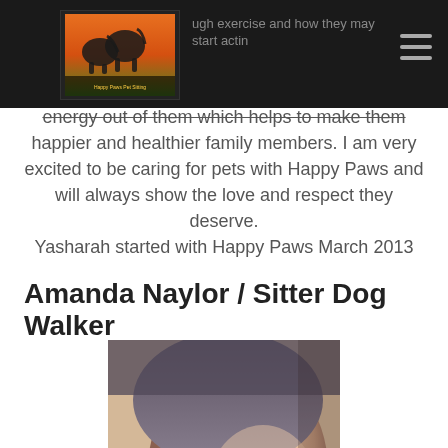Happy Paws logo and navigation bar
ugh exercise and how they may start acting home because of it. I love to get that extra energy out of them which helps to make them happier and healthier family members. I am very excited to be caring for pets with Happy Paws and will always show the love and respect they deserve. Yasharah started with Happy Paws March 2013
Amanda Naylor / Sitter Dog Walker
[Figure (photo): Close-up photo of Amanda Naylor smiling with a small dark-colored dog nuzzling her face]